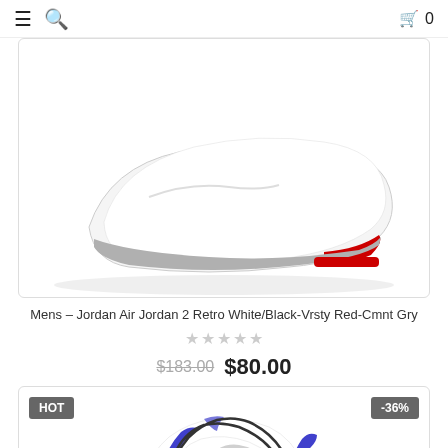Navigation bar with hamburger menu, search icon, shopping bag icon and cart count 0
[Figure (photo): Partial view of a Nike/Jordan Air Jordan 2 Retro shoe showing the sole area in white with red and grey accents on a white background]
Mens – Jordan Air Jordan 2 Retro White/Black-Vrsty Red-Cmnt Gry
★★★★★ (empty/grey stars rating)
$183.00  $80.00
[Figure (photo): Nike Air Jordan 2 Retro high-top sneaker in white with blue/purple accents and grey elephant print pattern, black laces and sole, labeled HOT with -36% discount badge]